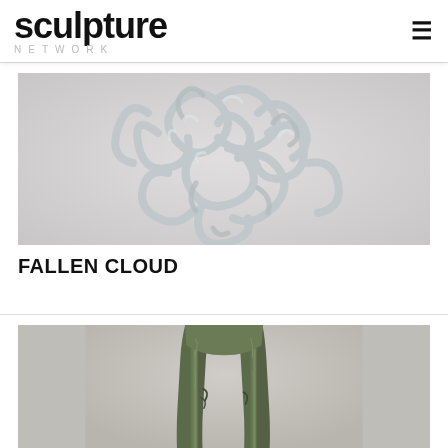sculpture NETWORK
[Figure (photo): Fallen Cloud sculpture — a tangled mass of silver metallic looping forms suspended against a light grey background]
FALLEN CLOUD
[Figure (photo): Bronze-green figurative sculpture showing human legs and torso with surface texture, against a light grey background]